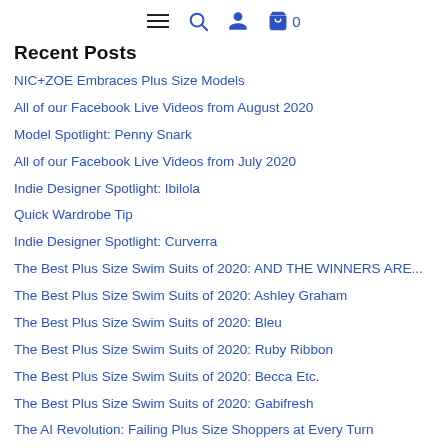≡  🔍  👤  🛍 0
Recent Posts
NIC+ZOE Embraces Plus Size Models
All of our Facebook Live Videos from August 2020
Model Spotlight: Penny Snark
All of our Facebook Live Videos from July 2020
Indie Designer Spotlight: Ibilola
Quick Wardrobe Tip
Indie Designer Spotlight: Curverra
The Best Plus Size Swim Suits of 2020: AND THE WINNERS ARE...
The Best Plus Size Swim Suits of 2020: Ashley Graham
The Best Plus Size Swim Suits of 2020: Bleu
The Best Plus Size Swim Suits of 2020: Ruby Ribbon
The Best Plus Size Swim Suits of 2020: Becca Etc.
The Best Plus Size Swim Suits of 2020: Gabifresh
The AI Revolution: Failing Plus Size Shoppers at Every Turn